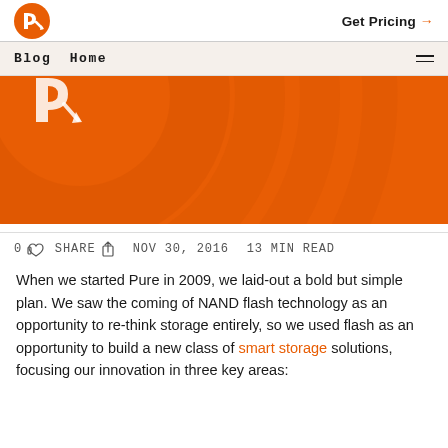Blog Home
[Figure (illustration): Orange hero banner image with circular design elements, partial white icon visible in upper left area]
0  SHARE  NOV 30, 2016  13 MIN READ
When we started Pure in 2009, we laid-out a bold but simple plan. We saw the coming of NAND flash technology as an opportunity to re-think storage entirely, so we used flash as an opportunity to build a new class of smart storage solutions, focusing our innovation in three key areas: